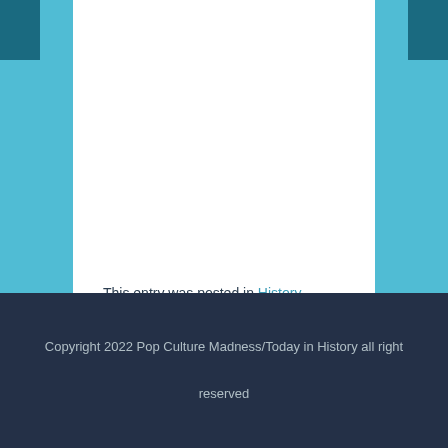This entry was posted in History, March
Tags: March 30
[Figure (illustration): Infinity symbol (∞) rendered as white outlined loops on teal background, loading indicator]
Loading...
Copyright 2022 Pop Culture Madness/Today in History all right reserved